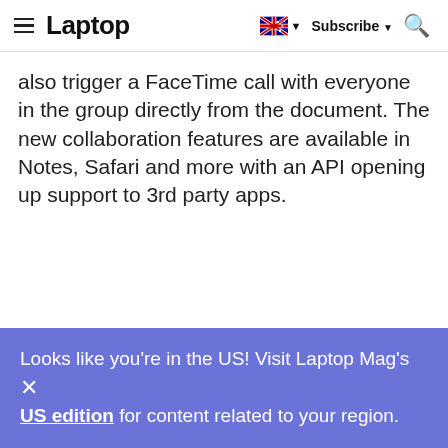Laptop  Subscribe
also trigger a FaceTime call with everyone in the group directly from the document. The new collaboration features are available in Notes, Safari and more with an API opening up support to 3rd party apps.
Looks like you're in the US! Visit Laptop Mag's US edition for content related to your region.